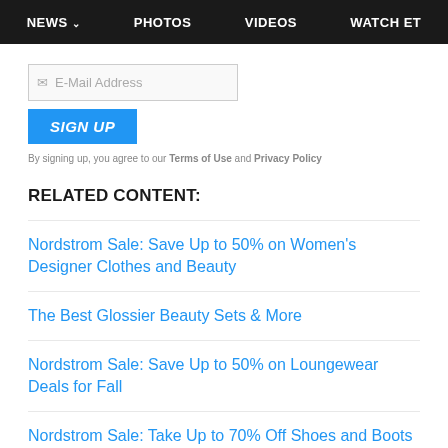NEWS  PHOTOS  VIDEOS  WATCH ET
E-Mail Address
SIGN UP
By signing up, you agree to our Terms of Use and Privacy Policy
RELATED CONTENT:
Nordstrom Sale: Save Up to 50% on Women's Designer Clothes and Beauty
The Best Glossier Beauty Sets & More
Nordstrom Sale: Save Up to 50% on Loungewear Deals for Fall
Nordstrom Sale: Take Up to 70% Off Shoes and Boots